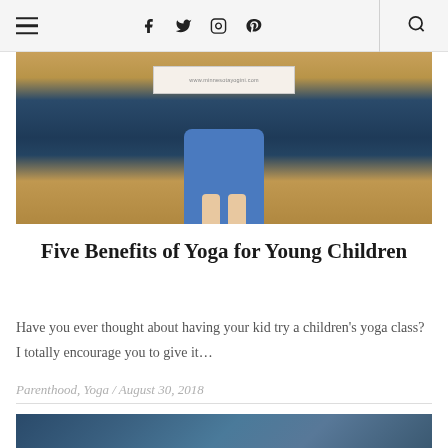≡  f  𝕏  ⊙  𝔓  🔍
[Figure (photo): Overhead view of a young child in blue pants sitting on a dark yoga mat on a wooden floor, with a card showing www.minnesotayogini.com]
Five Benefits of Yoga for Young Children
Have you ever thought about having your kid try a children's yoga class? I totally encourage you to give it…
Parenthood, Yoga / August 30, 2018
[Figure (photo): Partial view of a forest or nature scene with blue and green tones at the bottom of the page]